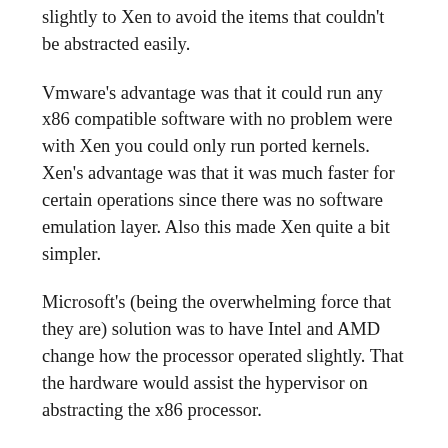slightly to Xen to avoid the items that couldn't be abstracted easily.
Vmware's advantage was that it could run any x86 compatible software with no problem were with Xen you could only run ported kernels. Xen's advantage was that it was much faster for certain operations since there was no software emulation layer. Also this made Xen quite a bit simpler.
Microsoft's (being the overwhelming force that they are) solution was to have Intel and AMD change how the processor operated slightly. That the hardware would assist the hypervisor on abstracting the x86 processor.
Microsoft's approach advantages was that it made it's virtualization approach as fast as Xen's setup, but that it also could run unported software like Vmware's hypervisor does. So it had both the advantages of Xen and Vmware server without much of the drawbacks.
However the downside to Microsoft's approach was...